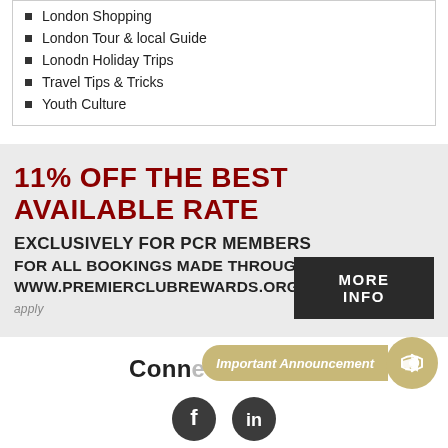London Shopping
London Tour & local Guide
Lonodn Holiday Trips
Travel Tips & Tricks
Youth Culture
11% OFF THE BEST AVAILABLE RATE
EXCLUSIVELY FOR PCR MEMBERS
FOR ALL BOOKINGS MADE THROUGH WWW.PREMIERCLUBREWARDS.ORG. Term & Conditions apply
MORE INFO
Connect with us
Important Announcement